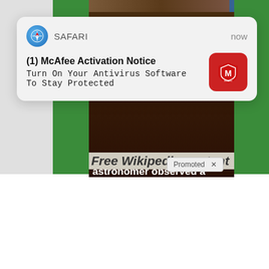[Figure (screenshot): Screenshot of a mobile browser screen showing a Safari push notification from McAfee and a web advertisement for Wikipedia content. The notification reads '(1) McAfee Activation Notice / Turn On Your Antivirus Software To Stay Protected'. Below is an ad banner showing text 'Do you know which astronomer observed a Supernova in 1604?' with italic text 'Enjoy this link to free Wikipedia content.' and a disclaimer. At the bottom is 'Free Wikipedia content' text and a 'Promoted X' label.]